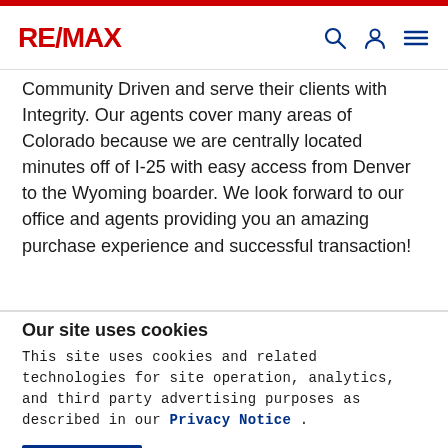RE/MAX
Community Driven and serve their clients with Integrity. Our agents cover many areas of Colorado because we are centrally located minutes off of I-25 with easy access from Denver to the Wyoming boarder. We look forward to our office and agents providing you an amazing purchase experience and successful transaction!
Our site uses cookies
This site uses cookies and related technologies for site operation, analytics, and third party advertising purposes as described in our Privacy Notice .
ACCEPT